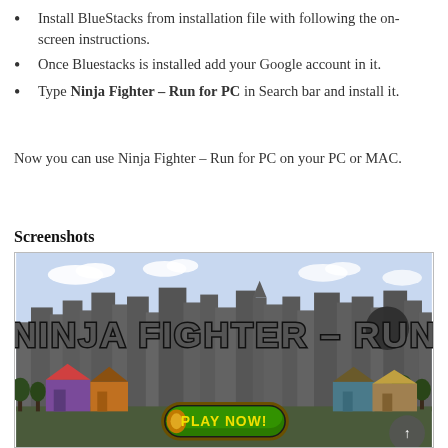Install BlueStacks from installation file with following the on-screen instructions.
Once Bluestacks is installed add your Google account in it.
Type Ninja Fighter – Run for PC in Search bar and install it.
Now you can use Ninja Fighter – Run for PC on your PC or MAC.
Screenshots
[Figure (screenshot): Screenshot of Ninja Fighter - Run game title screen showing 'NINJA FIGHTER - RUN' in large graffiti-style text over a cityscape background with a green 'PLAY NOW!' button at the bottom center.]